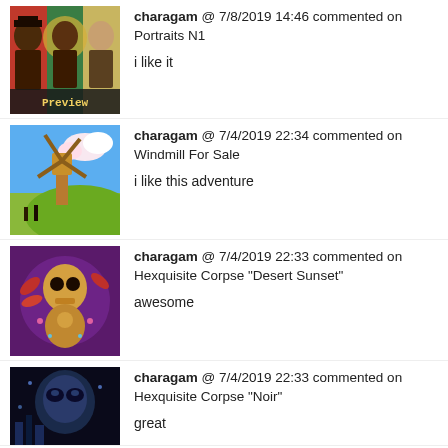[Figure (illustration): Pixel art thumbnail showing three portrait faces in red, green, and yellow panels with 'Preview' text]
charagam @ 7/8/2019 14:46 commented on Portraits N1

i like it
[Figure (illustration): Pixel art thumbnail of a windmill landscape with blue sky and green hills]
charagam @ 7/4/2019 22:34 commented on Windmill For Sale

i like this adventure
[Figure (illustration): Digital art thumbnail of an ornate skull figure with colorful decorative elements on purple background]
charagam @ 7/4/2019 22:33 commented on Hexquisite Corpse "Desert Sunset"

awesome
[Figure (illustration): Pixel art thumbnail of a dark face/skull with blue tones]
charagam @ 7/4/2019 22:33 commented on Hexquisite Corpse "Noir"

great